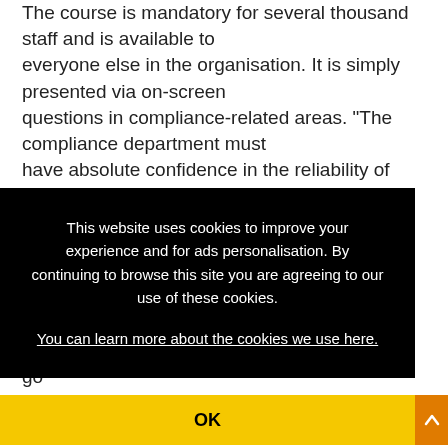The course is mandatory for several thousand staff and is available to everyone else in the organisation. It is simply presented via on-screen questions in compliance-related areas. "The compliance department must have absolute confidence in the reliability of TopClass as
[Figure (screenshot): Cookie consent overlay with black background. Text reads: 'This website uses cookies to improve your experience and for ads personalisation. By continuing to browse this site you are agreeing to our use of these cookies.' with a link 'You can learn more about the cookies we use here.' Below is a yellow OK button and an orange scroll-to-top button with an up arrow.]